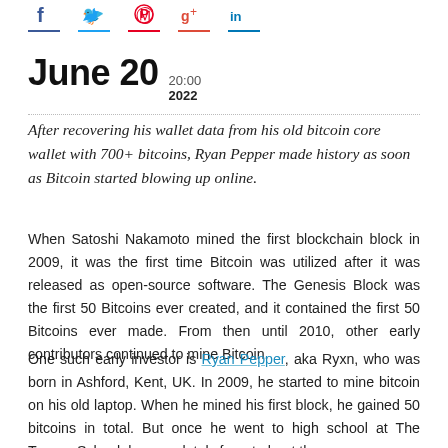[Figure (other): Social media sharing icons: Facebook (blue), Twitter (cyan), Pinterest (red), Google+ (red), LinkedIn (blue), each with a colored underline]
June 20  20:00  2022
After recovering his wallet data from his old bitcoin core wallet with 700+ bitcoins, Ryan Pepper made history as soon as Bitcoin started blowing up online.
When Satoshi Nakamoto mined the first blockchain block in 2009, it was the first time Bitcoin was utilized after it was released as open-source software. The Genesis Block was the first 50 Bitcoins ever created, and it contained the first 50 Bitcoins ever made. From then until 2010, other early contributors continued to mine Bitcoin.
One such early investor is Ryan Pepper, aka Ryxn, who was born in Ashford, Kent, UK. In 2009, he started to mine bitcoin on his old laptop. When he mined his first block, he gained 50 bitcoins in total. But once he went to high school at The Towers School, he completely forgot about the bitcoin that he mined during the early days of around four fo